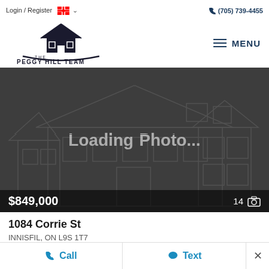Login / Register  (705) 739-4455
[Figure (logo): The Peggy Hill Team logo with house icon and text: THE PEGGY HILL TEAM, REAL PEOPLE. REAL SERVICE. REAL RESULTS.]
[Figure (photo): Loading Photo... placeholder image with house outline on dark background showing $849,000 price and 14 photo count]
1084 Corrie St
INNISFIL, ON L9S 1T7
Call  Text  ×